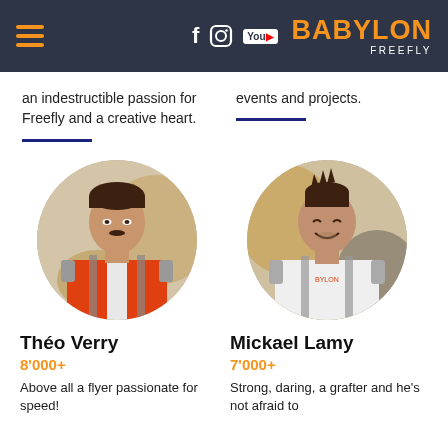BABYLON FREEFLY
an indestructible passion for Freefly and a creative heart.
events and projects.
[Figure (photo): Circular portrait photo of Théo Verry in freefly suit]
[Figure (photo): Circular portrait photo of Mickael Lamy in freefly suit]
Théo Verry
8'000+
Above all a flyer passionate for speed!
Mickael Lamy
7'000+
Strong, daring, a grafter and he's not afraid to